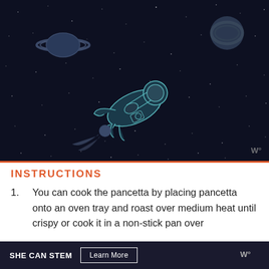[Figure (illustration): Dark space illustration with an astronaut floating in zero gravity, surrounded by planets (Saturn-like with rings, a smaller rocky planet, a comet), stars, and a watermark logo 'W°' in the bottom right corner.]
INSTRUCTIONS
1. You can cook the pancetta by placing pancetta onto an oven tray and roast over medium heat until crispy or cook it in a non-stick pan over
SHE CAN STEM  Learn More  W°